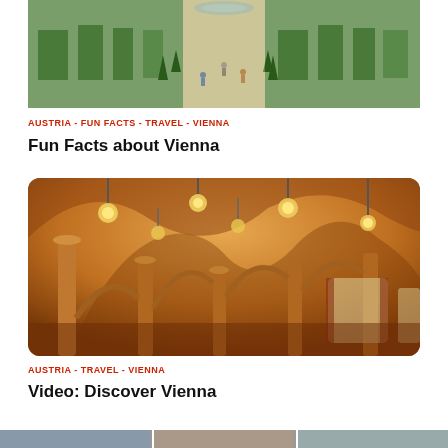[Figure (photo): Aerial view of a formal garden with fountains, green hedges, and people walking along a central path]
AUSTRIA - FUN FACTS - TRAVEL - VIENNA
Fun Facts about Vienna
[Figure (photo): Interior of a grand Viennese hall with ornate arched ceilings, columns, and hanging chandeliers with warm orange tones]
AUSTRIA - TRAVEL - VIENNA
Video: Discover Vienna
[Figure (photo): Partial view of another image at the bottom of the page]